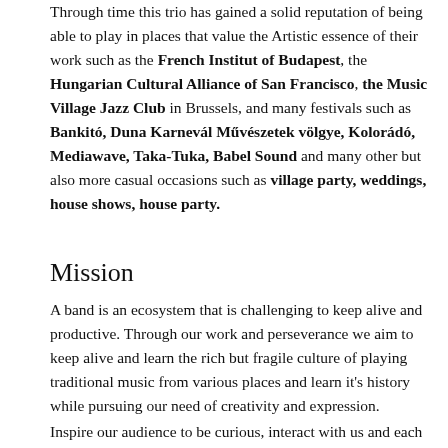Through time this trio has gained a solid reputation of being able to play in places that value the Artistic essence of their work such as the French Institut of Budapest, the Hungarian Cultural Alliance of San Francisco, the Music Village Jazz Club in Brussels, and many festivals such as Bankitó, Duna Karnevál Művészetek völgye, Kolorádó, Mediawave, Taka-Tuka, Babel Sound and many other but also more casual occasions such as village party, weddings, house shows, house party.
Mission
A band is an ecosystem that is challenging to keep alive and productive. Through our work and perseverance we aim to keep alive and learn the rich but fragile culture of playing traditional music from various places and learn it's history while pursuing our need of creativity and expression.
Inspire our audience to be curious, interact with us and each other through the celebration of the moment in a